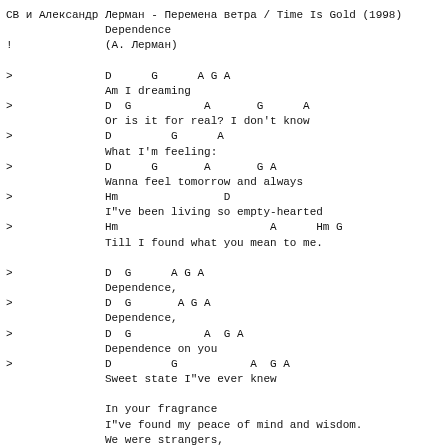СВ и Александр Лерман - Перемена ветра / Time Is Gold (1998)
Dependence
! (А. Лерман)

>               D      G      A G A
                Am I dreaming
>               D  G           A       G      A
                Or is it for real? I don't know
>               D         G      A
                What I'm feeling:
>               D      G       A       G A
                Wanna feel tomorrow and always
>               Hm                D
                I"ve been living so empty-hearted
>               Hm                       A      Hm G
                Till I found what you mean to me.

>               D  G      A G A
                Dependence,
>               D  G       A G A
                Dependence,
>               D  G           A  G A
                Dependence on you
>               D         G           A  G A
                Sweet state I"ve ever knew

                In your fragrance
                I"ve found my peace of mind and wisdom.
                We were strangers,
                But no one knows me better, than you do.
                When my days are so hard and troubled
                All I need is to reach for you.

                Dependence,
                Dependence,
                Dependence on you